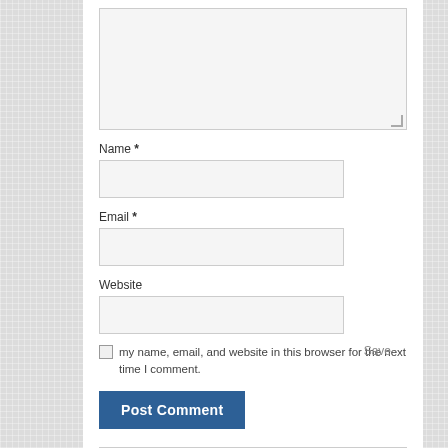Name *
Email *
Website
Save my name, email, and website in this browser for the next time I comment.
Post Comment
SUBSCRIBE TO THE EXOSOME REPORT